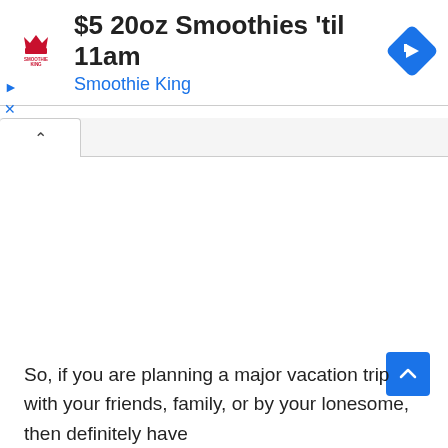[Figure (screenshot): Advertisement banner for Smoothie King: '$5 20oz Smoothies til 11am' with Smoothie King logo on left and blue navigation arrow diamond icon on right. Below is a tab bar with an active tab showing a caret/chevron up icon. A blue scroll-to-top button appears at bottom right.]
So, if you are planning a major vacation trip with your friends, family, or by your lonesome, then definitely have